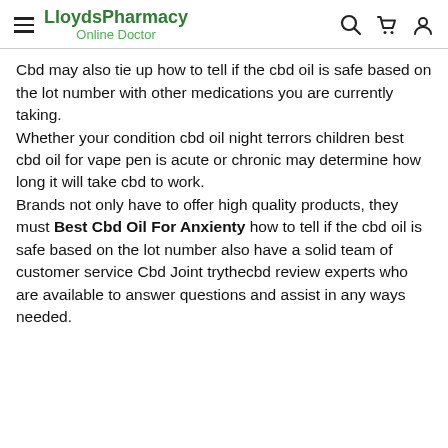LloydsPharmacy Online Doctor
Cbd may also tie up how to tell if the cbd oil is safe based on the lot number with other medications you are currently taking.
Whether your condition cbd oil night terrors children best cbd oil for vape pen is acute or chronic may determine how long it will take cbd to work.
Brands not only have to offer high quality products, they must Best Cbd Oil For Anxienty how to tell if the cbd oil is safe based on the lot number also have a solid team of customer service Cbd Joint trythecbd review experts who are available to answer questions and assist in any ways needed.